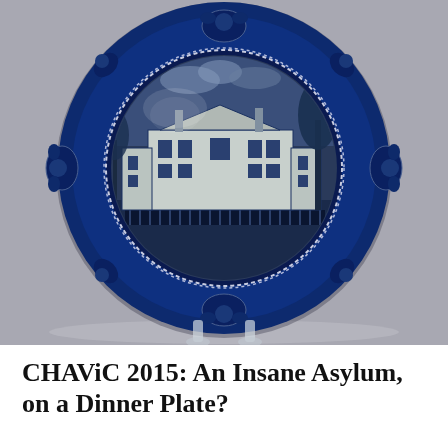[Figure (photo): A blue and white transfer-ware ceramic dinner plate displayed on a clear plastic plate stand. The plate features a central scene depicting a large neoclassical building (an insane asylum) surrounded by trees, with a decorative floral border of roses and vines in dark cobalt blue. The background behind the plate is a neutral grey.]
CHAViC 2015: An Insane Asylum, on a Dinner Plate?